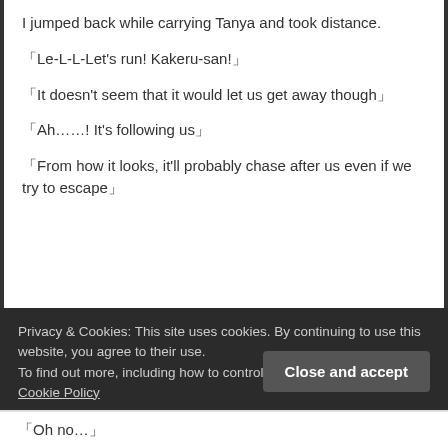I jumped back while carrying Tanya and took distance.
「Le-L-L-Let's run! Kakeru-san!」
「It doesn't seem that it would let us get away though」
「Ah……! It's following us」
「From how it looks, it'll probably chase after us even if we try to escape」
Privacy & Cookies: This site uses cookies. By continuing to use this website, you agree to their use. To find out more, including how to control cookies, see here: Our Cookie Policy
「Oh no…」